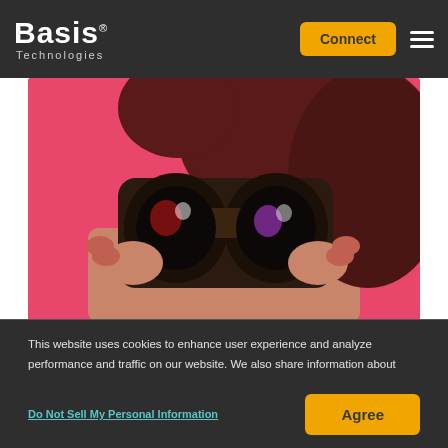[Figure (logo): Basis Technologies logo — white bold 'Basis' text with registered trademark symbol, 'Technologies' subtitle in light gray, on dark background]
[Figure (screenshot): Navigation bar with Basis Technologies logo on left, orange 'Connect' button and hamburger menu icon on right, dark gray background]
[Figure (photo): Person holding large binoculars up to their face against a bright pink background, hair visible, close-up shot]
This website uses cookies to enhance user experience and analyze performance and traffic on our website. We also share information about your use of our site with our social media, advertising, and analytics partners. For more information about how we use cookies, visit https://privacy.basis.net
Do Not Sell My Personal Information
Agree